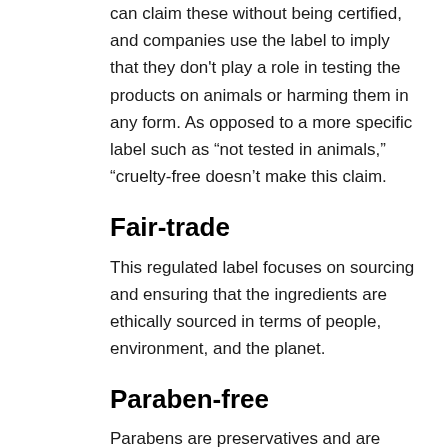can claim these without being certified, and companies use the label to imply that they don't play a role in testing the products on animals or harming them in any form. As opposed to a more specific label such as “not tested in animals,” “cruelty-free doesn’t make this claim.
Fair-trade
This regulated label focuses on sourcing and ensuring that the ingredients are ethically sourced in terms of people, environment, and the planet.
Paraben-free
Parabens are preservatives and are used to